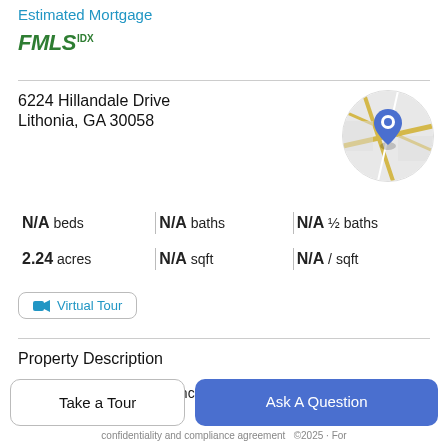Estimated Mortgage
[Figure (logo): FMLS IDX logo in green]
6224 Hillandale Drive
Lithonia, GA 30058
[Figure (map): Circular map thumbnail with blue location pin marker]
| N/A beds | N/A baths | N/A ½ baths |
| 2.24 acres | N/A sqft | N/A / sqft |
Virtual Tour
Property Description
Operating as a Daycare since 1996 by the Owner. All
Take a Tour
Ask A Question